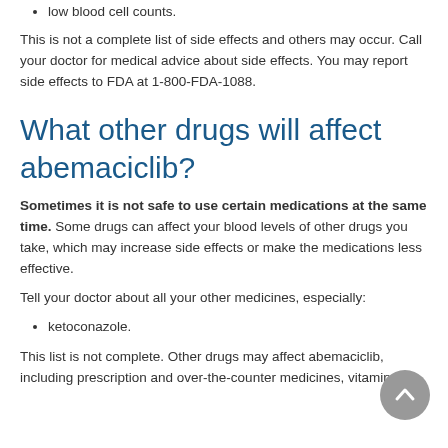low blood cell counts.
This is not a complete list of side effects and others may occur. Call your doctor for medical advice about side effects. You may report side effects to FDA at 1-800-FDA-1088.
What other drugs will affect abemaciclib?
Sometimes it is not safe to use certain medications at the same time. Some drugs can affect your blood levels of other drugs you take, which may increase side effects or make the medications less effective.
Tell your doctor about all your other medicines, especially:
ketoconazole.
This list is not complete. Other drugs may affect abemaciclib, including prescription and over-the-counter medicines, vitamins,